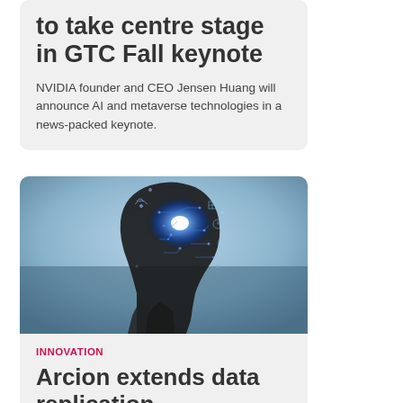to take centre stage in GTC Fall keynote
NVIDIA founder and CEO Jensen Huang will announce AI and metaverse technologies in a news-packed keynote.
[Figure (photo): Silhouette of a person in profile with glowing blue digital brain/circuit overlays, representing AI and technology concepts.]
INNOVATION
Arcion extends data replication